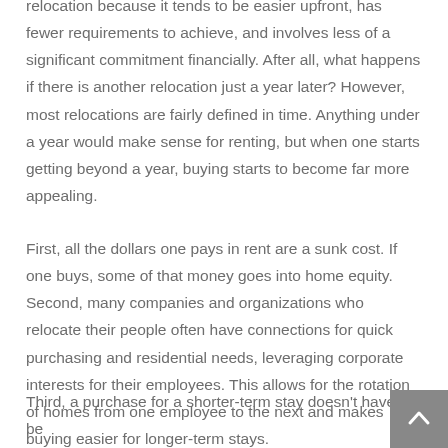relocation because it tends to be easier upfront, has fewer requirements to achieve, and involves less of a significant commitment financially. After all, what happens if there is another relocation just a year later? However, most relocations are fairly defined in time. Anything under a year would make sense for renting, but when one starts getting beyond a year, buying starts to become far more appealing.
First, all the dollars one pays in rent are a sunk cost. If one buys, some of that money goes into home equity. Second, many companies and organizations who relocate their people often have connections for quick purchasing and residential needs, leveraging corporate interests for their employees. This allows for the rotation of homes from one employee to the next and makes buying easier for longer-term stays.
Third, a purchase for a shorter-term stay doesn't have to be